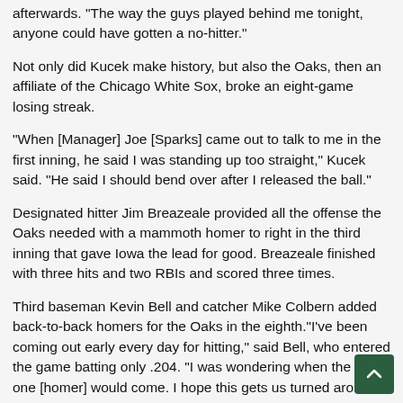afterwards. "The way the guys played behind me tonight, anyone could have gotten a no-hitter."
Not only did Kucek make history, but also the Oaks, then an affiliate of the Chicago White Sox, broke an eight-game losing streak.
"When [Manager] Joe [Sparks] came out to talk to me in the first inning, he said I was standing up too straight," Kucek said. "He said I should bend over after I released the ball."
Designated hitter Jim Breazeale provided all the offense the Oaks needed with a mammoth homer to right in the third inning that gave Iowa the lead for good. Breazeale finished with three hits and two RBIs and scored three times.
Third baseman Kevin Bell and catcher Mike Colbern added back-to-back homers for the Oaks in the eighth.“I’ve been coming out early every day for hitting,” said Bell, who entered the game batting only .204. “I was wondering when the first one [homer] would come. I hope this gets us turned around.”
Two fielding gems secured the no-hitter for Kucek.In the third inning, left fielder Mike Eden made a diving, shoestring catch on Mike Anderson’s sinking line drive. As he caught